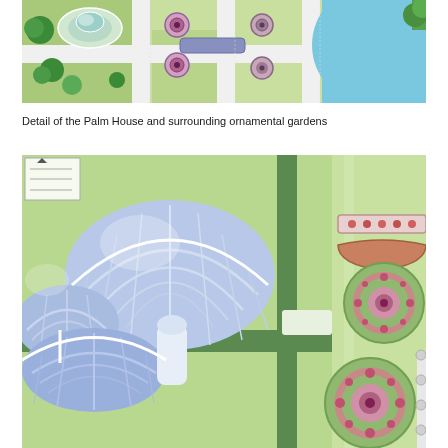[Figure (illustration): Aerial isometric illustration of Kew Gardens showing the Palm House (glass dome structure), ornamental garden beds with circular patterns, white pathways, green lawns, trees, and a blue lake/pond in the upper right.]
Detail of the Palm House and surrounding ornamental gardens
[Figure (illustration): Close-up isometric illustration of the Palm House at Kew Gardens, showing detailed blue-and-white glass dome structure with curving sections, green pathways, and ornamental circular garden beds with pink and dark red flower patterns on a green lawn background. A small legend/scale box is visible in the top-left corner.]